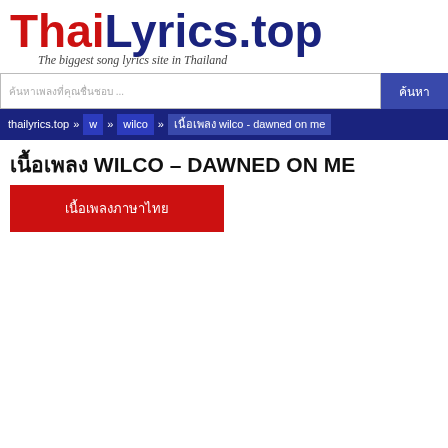[Figure (logo): ThaiLyrics.top logo with red 'Thai' and blue 'Lyrics.top' text, tagline 'The biggest song lyrics site in Thailand']
ค้นหาเพลงที่คุณชื่นชอบ...
ค้นหา
thailyrics.top » w » wilco » เนื้อเพลง wilco - dawned on me
เนื้อเพลง WILCO – DAWNED ON ME
เนื้อเพลงภาษาไทย